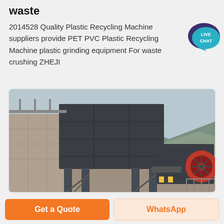waste
2014528 Quality Plastic Recycling Machine suppliers provide PET PVC Plastic Recycling Machine plastic grinding equipment For waste crushing ZHEJI
[Figure (photo): Industrial crushing/grinding machine with large dark metal hopper elevated on a steel frame structure, with a separate crusher unit with a red flywheel visible to the right, set against a mountainous background.]
Get a Quote
WhatsApp